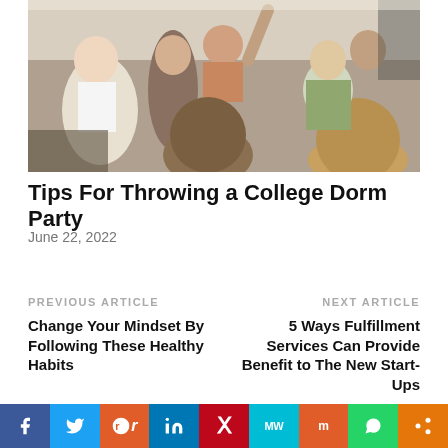[Figure (photo): Group of college students at a dorm party, some with arms raised, in a crowded room.]
Tips For Throwing a College Dorm Party
June 22, 2022
PREVIOUS ARTICLE
Change Your Mindset By Following These Healthy Habits
NEXT ARTICLE
5 Ways Fulfillment Services Can Provide Benefit to The New Start-Ups